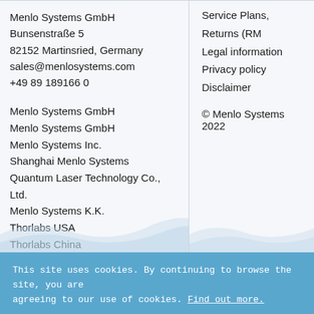Menlo Systems GmbH
Bunsenstraße 5
82152 Martinsried, Germany
sales@menlosystems.com
+49 89 189166 0
Menlo Systems GmbH
Menlo Systems GmbH
Menlo Systems Inc.
Shanghai Menlo Systems Quantum Laser Technology Co., Ltd.
Menlo Systems K.K.
Thorlabs USA
Thorlabs China
Rest of the World
Service Plans, Returns (RM
Legal information
Privacy policy
Disclaimer
© Menlo Systems 2022
This site uses cookies. By continuing to browse the site, you are agreeing to our use of cookies. Find out more.